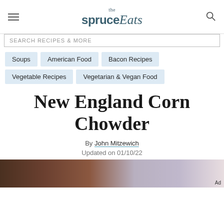the spruce Eats
SEARCH RECIPES & MORE
Soups
American Food
Bacon Recipes
Vegetable Recipes
Vegetarian & Vegan Food
New England Corn Chowder
By John Mitzewich
Updated on 01/10/22
[Figure (photo): Partial photo of food (corn chowder) with Ad label in corner]